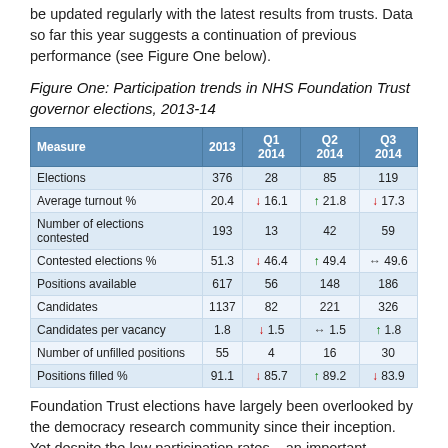be updated regularly with the latest results from trusts. Data so far this year suggests a continuation of previous performance (see Figure One below).
Figure One: Participation trends in NHS Foundation Trust governor elections, 2013-14
| Measure | 2013 | Q1 2014 | Q2 2014 | Q3 2014 |
| --- | --- | --- | --- | --- |
| Elections | 376 | 28 | 85 | 119 |
| Average turnout % | 20.4 | ↓ 16.1 | ↑ 21.8 | ↓ 17.3 |
| Number of elections contested | 193 | 13 | 42 | 59 |
| Contested elections % | 51.3 | ↓ 46.4 | ↑ 49.4 | ↔ 49.6 |
| Positions available | 617 | 56 | 148 | 186 |
| Candidates | 1137 | 82 | 221 | 326 |
| Candidates per vacancy | 1.8 | ↓ 1.5 | ↔ 1.5 | ↑ 1.8 |
| Number of unfilled positions | 55 | 4 | 16 | 30 |
| Positions filled % | 91.1 | ↓ 85.7 | ↑ 89.2 | ↓ 83.9 |
Foundation Trust elections have largely been overlooked by the democracy research community since their inception. Yet despite the low participation rates – an important